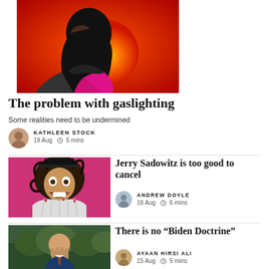[Figure (photo): A woman with dark hair against an orange/red background with a glowing sun-like light behind her head, wearing a pink/magenta ruffled top]
The problem with gaslighting
Some realities need to be undermined
KATHLEEN STOCK
19 Aug  5 mins
[Figure (photo): A man with wild curly dark hair holding up playing cards in a fan, with a surprised/comedic expression, against a pink background]
Jerry Sadowitz is too good to cancel
ANDREW DOYLE
16 Aug  6 mins
[Figure (photo): An elderly man in a blue suit holding his head with his hand, outdoors with trees in background]
There is no “Biden Doctrine”
AYAAN HIRSI ALI
15 Aug  5 mins